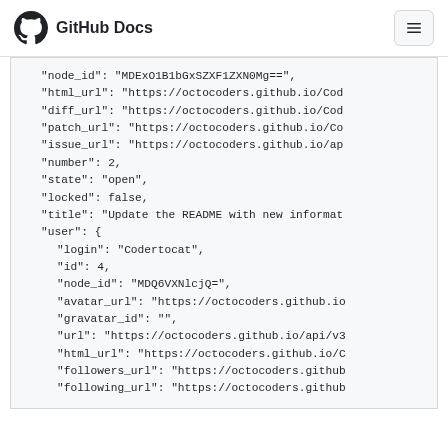GitHub Docs
"node_id": "MDExO1B1bGxSZXF1ZXN0Mg==",
"html_url": "https://octocoders.github.io/Cod
"diff_url": "https://octocoders.github.io/Cod
"patch_url": "https://octocoders.github.io/Co
"issue_url": "https://octocoders.github.io/ap
"number": 2,
"state": "open",
"locked": false,
"title": "Update the README with new informat
"user": {
  "login": "Codertocat",
  "id": 4,
  "node_id": "MDQ6VXNlcjQ=",
  "avatar_url": "https://octocoders.github.io
  "gravatar_id": "",
  "url": "https://octocoders.github.io/api/v3
  "html_url": "https://octocoders.github.io/C
  "followers_url": "https://octocoders.github
  "following_url": "https://octocoders.github